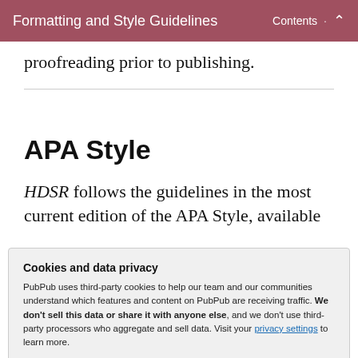Formatting and Style Guidelines  Contents  ▲
proofreading prior to publishing.
APA Style
HDSR follows the guidelines in the most current edition of the APA Style, available
Cookies and data privacy
PubPub uses third-party cookies to help our team and our communities understand which features and content on PubPub are receiving traffic. We don't sell this data or share it with anyone else, and we don't use third-party processors who aggregate and sell data. Visit your privacy settings to learn more.
their official website, here: